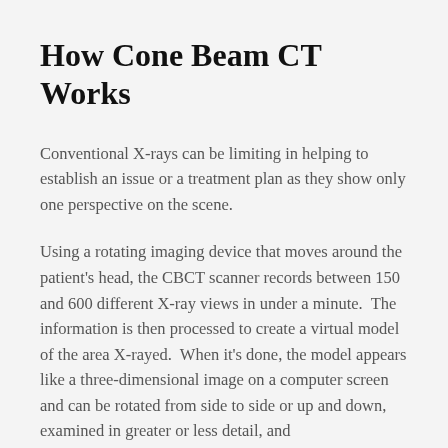How Cone Beam CT Works
Conventional X-rays can be limiting in helping to establish an issue or a treatment plan as they show only one perspective on the scene.
Using a rotating imaging device that moves around the patient's head, the CBCT scanner records between 150 and 600 different X-ray views in under a minute.  The information is then processed to create a virtual model of the area X-rayed.  When it's done, the model appears like a three-dimensional image on a computer screen and can be rotated from side to side or up and down, examined in greater or less detail, and